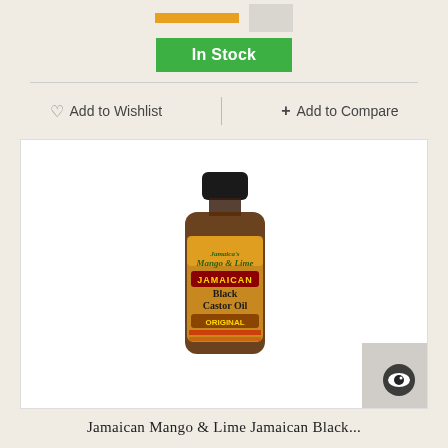[Figure (screenshot): Add to cart button (orange) and quantity button (gray) at top]
In Stock
Add to Wishlist
Add to Compare
[Figure (photo): Product photo of Jamaican Mango & Lime Jamaican Black Castor Oil bottle in amber glass with gold label, black cap, on white background. Bottom-right corner has a gray triangle with an eye icon.]
Jamaican Mango & Lime Jamaican Black...